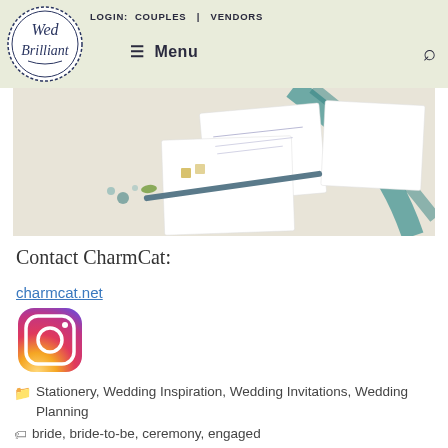LOGIN: COUPLES | VENDORS  ≡ Menu 🔍  Wed Brilliant (logo)
[Figure (photo): Wedding stationery flat lay with teal ribbon, calligraphy pen, and invitation cards on a white surface]
Contact CharmCat:
charmcat.net
[Figure (logo): Instagram logo icon — rounded square gradient from yellow-orange to pink-purple with camera outline]
Stationery, Wedding Inspiration, Wedding Invitations, Wedding Planning
bride, bride-to-be, ceremony, engaged